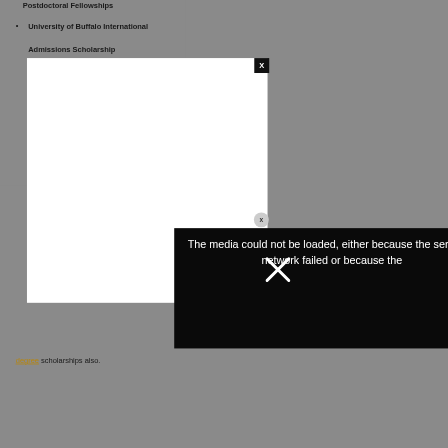Postdoctoral Fellowships
University of Buffalo International Admissions Scholarship
[Figure (screenshot): A white modal overlay box with a black close button (X) in the top right corner, and a circular X button on the right side. An error message box in black reads: 'The media could not be loaded, either because the server or network failed or because the' with a white X cross overlaid on the error text area.]
degree scholarships also.